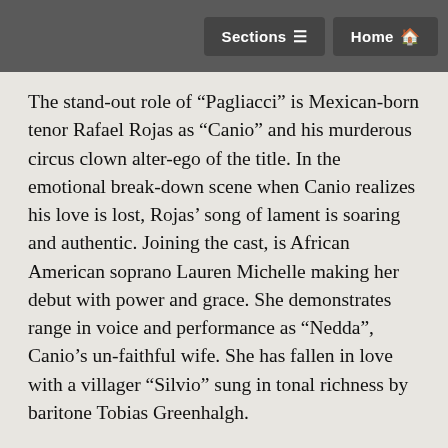Sections   Home
The stand-out role of “Pagliacci” is Mexican-born tenor Rafael Rojas as “Canio” and his murderous circus clown alter-ego of the title. In the emotional break-down scene when Canio realizes his love is lost, Rojas’ song of lament is soaring and authentic. Joining the cast, is African American soprano Lauren Michelle making her debut with power and grace. She demonstrates  range in voice and performance as “Nedda”, Canio’s un-faithful wife. She has fallen in love with a villager “Silvio” sung in tonal richness by baritone Tobias Greenhalgh.
Almost stealing the show is veteran baritone Michael Mayes as “Tonio.” The angry master of ceremonies, forever the physical outcast of the troupe, is secretly in love with Nedda as well. In the opening scene Mayes’ Tonio